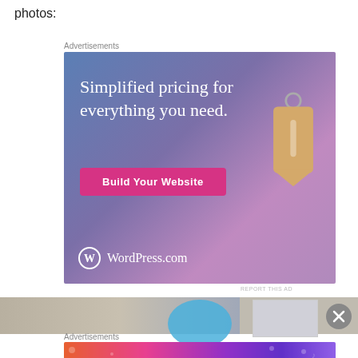photos:
Advertisements
[Figure (photo): WordPress.com advertisement: 'Simplified pricing for everything you need.' with a 'Build Your Website' button and a price tag graphic on a blue-purple gradient background]
REPORT THIS AD
[Figure (photo): Partial photo strip showing a room interior with a blue circular object and a framed image on the right]
Advertisements
[Figure (photo): Fandom on Tumblr advertisement with colorful gradient background and white doodles]